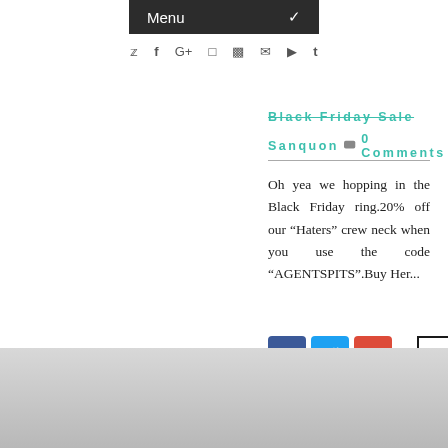Menu
Black Friday Sale
Sanquon  0 Comments
Oh yea we hopping in the Black Friday ring.20% off our "Haters" crew neck when you use the code "AGENTSPITS".Buy Her...
[Figure (screenshot): Social share buttons: Facebook (blue), Twitter (light blue), Google+ (red), and a READ MORE button with black border]
[Figure (photo): Gray gradient image at the bottom of the page]